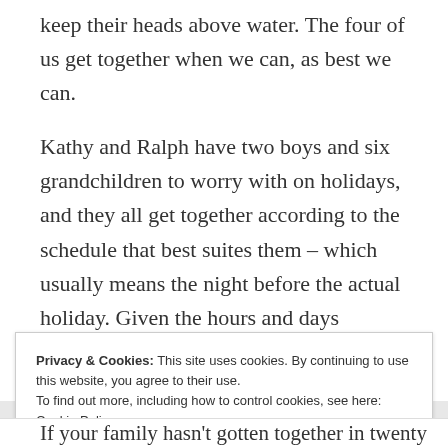keep their heads above water. The four of us get together when we can, as best we can.
Kathy and Ralph have two boys and six grandchildren to worry with on holidays, and they all get together according to the schedule that best suites them – which usually means the night before the actual holiday. Given the hours and days Preston works, that knocks us right out.
Privacy & Cookies: This site uses cookies. By continuing to use this website, you agree to their use.
To find out more, including how to control cookies, see here: Cookie Policy
Close and accept
If your family hasn't gotten together in twenty